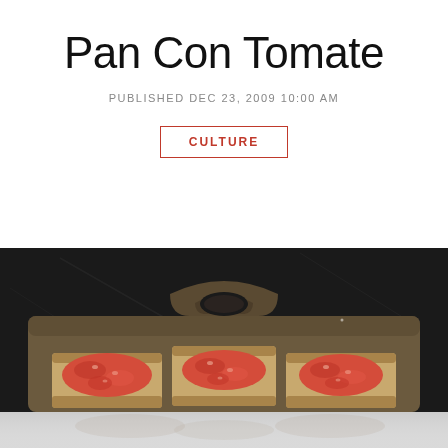Pan Con Tomate
PUBLISHED DEC 23, 2009 10:00 AM
CULTURE
[Figure (photo): Pan con tomate — three slices of toast topped with tomato spread on a dark rustic tray, photographed from above against a dark background, with a partial reflection at the bottom edge.]